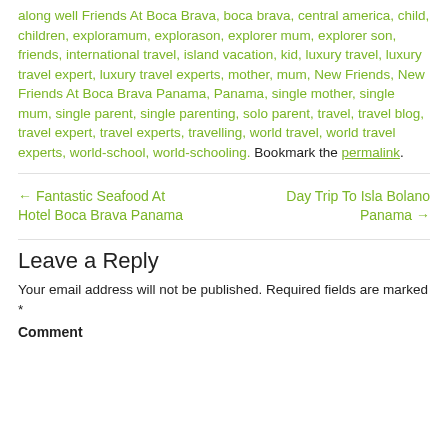along well Friends At Boca Brava, boca brava, central america, child, children, exploramum, explorason, explorer mum, explorer son, friends, international travel, island vacation, kid, luxury travel, luxury travel expert, luxury travel experts, mother, mum, New Friends, New Friends At Boca Brava Panama, Panama, single mother, single mum, single parent, single parenting, solo parent, travel, travel blog, travel expert, travel experts, travelling, world travel, world travel experts, world-school, world-schooling. Bookmark the permalink.
← Fantastic Seafood At Hotel Boca Brava Panama
Day Trip To Isla Bolano Panama →
Leave a Reply
Your email address will not be published. Required fields are marked *
Comment